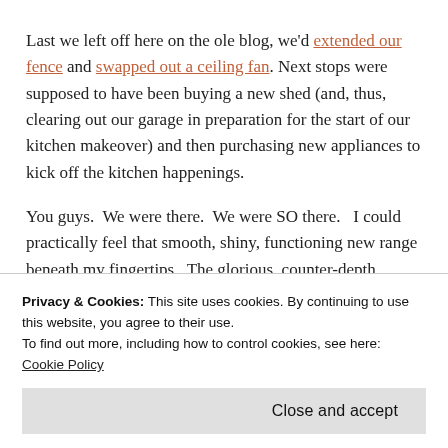Last we left off here on the ole blog, we'd extended our fence and swapped out a ceiling fan. Next stops were supposed to have been buying a new shed (and, thus, clearing out our garage in preparation for the start of our kitchen makeover) and then purchasing new appliances to kick off the kitchen happenings.
You guys.  We were there.  We were SO there.   I could practically feel that smooth, shiny, functioning new range beneath my fingertips.  The glorious, counter-depth fridge. The dishwasher… Oh! The dish...
Privacy & Cookies: This site uses cookies. By continuing to use this website, you agree to their use.
To find out more, including how to control cookies, see here: Cookie Policy
Close and accept